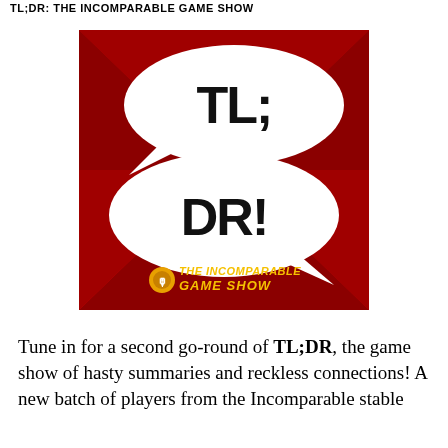TL;DR: THE INCOMPARABLE GAME SHOW
[Figure (logo): TL;DR podcast logo on red background with two speech bubbles: upper bubble says 'TL;' and lower bubble says 'DR!' with 'THE INCOMPARABLE GAME SHOW' text and microphone icon at bottom]
Tune in for a second go-round of TL;DR, the game show of hasty summaries and reckless connections! A new batch of players from the Incomparable stable